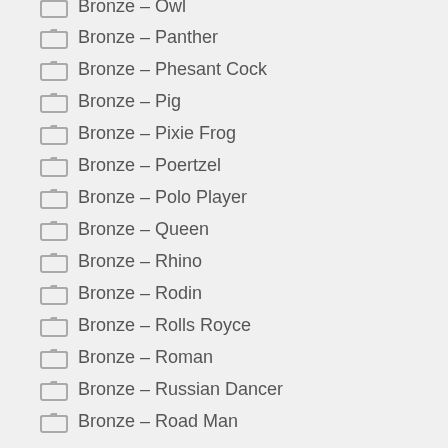Bronze – Owl
Bronze – Panther
Bronze – Phesant Cock
Bronze – Pig
Bronze – Pixie Frog
Bronze – Poertzel
Bronze – Polo Player
Bronze – Queen
Bronze – Rhino
Bronze – Rodin
Bronze – Rolls Royce
Bronze – Roman
Bronze – Russian Dancer
Bronze – Road Man